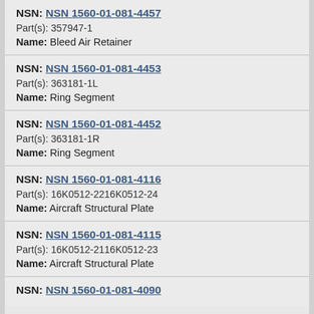NSN: NSN 1560-01-081-4457
Part(s): 357947-1
Name: Bleed Air Retainer
NSN: NSN 1560-01-081-4453
Part(s): 363181-1L
Name: Ring Segment
NSN: NSN 1560-01-081-4452
Part(s): 363181-1R
Name: Ring Segment
NSN: NSN 1560-01-081-4116
Part(s): 16K0512-2216K0512-24
Name: Aircraft Structural Plate
NSN: NSN 1560-01-081-4115
Part(s): 16K0512-2116K0512-23
Name: Aircraft Structural Plate
NSN: NSN 1560-01-081-4090
Part(s): (partial)
Name: (partial)